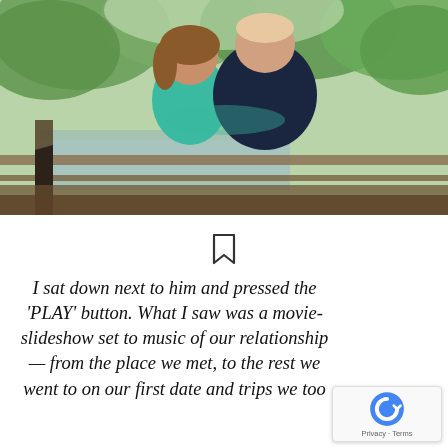[Figure (photo): A couple standing close together on a wooden bridge or deck, nearly kissing, surrounded by greenery and a stream or river in the background. The woman wears a teal/turquoise dress and the man wears a dark navy polo shirt.]
I sat down next to him and pressed the 'PLAY' button. What I saw was a movie-slideshow set to music of our relationship — from the place we met, to the rest we went to on our first date and trips we too
[Figure (logo): Google reCAPTCHA badge with spinning logo and 'Privacy · Terms' text]